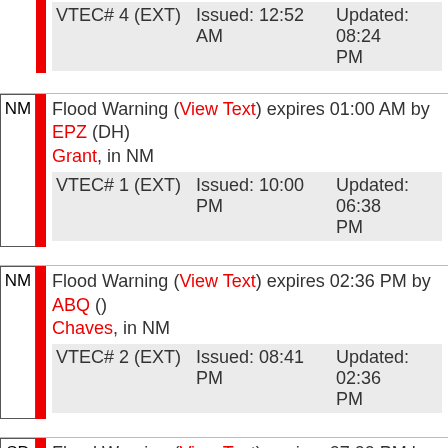VTEC# 4 (EXT) Issued: 12:52 AM Updated: 08:24 PM
NM Flood Warning (View Text) expires 01:00 AM by EPZ (DH) Grant, in NM VTEC# 1 (EXT) Issued: 10:00 PM Updated: 06:38 PM
NM Flood Warning (View Text) expires 02:36 PM by ABQ () Chaves, in NM VTEC# 2 (EXT) Issued: 08:41 PM Updated: 02:36 PM
SD Flood Warning (View Text) expires 07:00 PM by FSD () Beadle, in SD